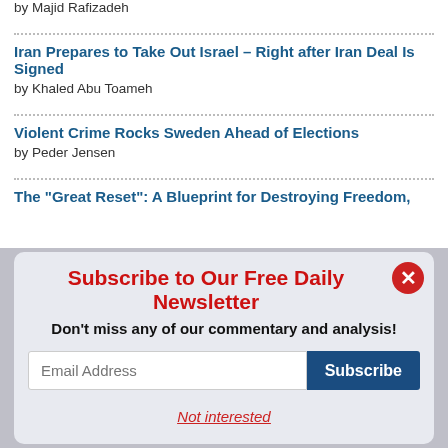by Majid Rafizadeh
Iran Prepares to Take Out Israel – Right after Iran Deal Is Signed
by Khaled Abu Toameh
Violent Crime Rocks Sweden Ahead of Elections
by Peder Jensen
The "Great Reset": A Blueprint for Destroying Freedom,
[Figure (other): Newsletter subscription modal overlay with title 'Subscribe to Our Free Daily Newsletter', subtitle 'Don’t miss any of our commentary and analysis!', email input field, Subscribe button, close button, and 'Not interested' link.]